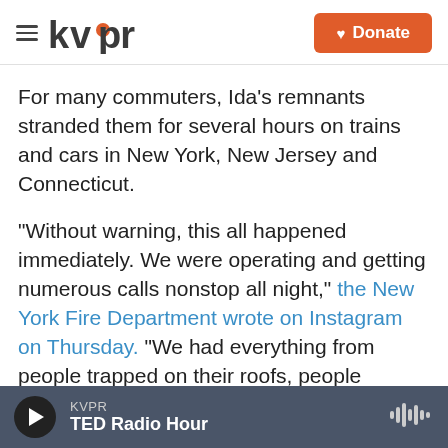kvpr | Donate
For many commuters, Ida's remnants stranded them for several hours on trains and cars in New York, New Jersey and Connecticut.
"Without warning, this all happened immediately. We were operating and getting numerous calls nonstop all night," the New York Fire Department wrote on Instagram on Thursday. "We had everything from people trapped on their roofs, people trapped in completely submerged cars, trapped in basements with the doors stuck and water rapidly rising, and with heavy currents of water everywhere, our units did a tremendous job."
KVPR | TED Radio Hour